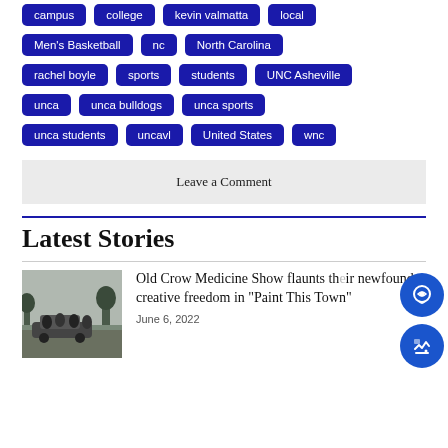campus
college
kevin valmatta
local
Men's Basketball
nc
North Carolina
rachel boyle
sports
students
UNC Asheville
unca
unca bulldogs
unca sports
unca students
uncavl
United States
wnc
Leave a Comment
Latest Stories
[Figure (photo): Black and white photo of a band (Old Crow Medicine Show) seated near a car outdoors]
Old Crow Medicine Show flaunts their newfound creative freedom in “Paint This Town”
June 6, 2022